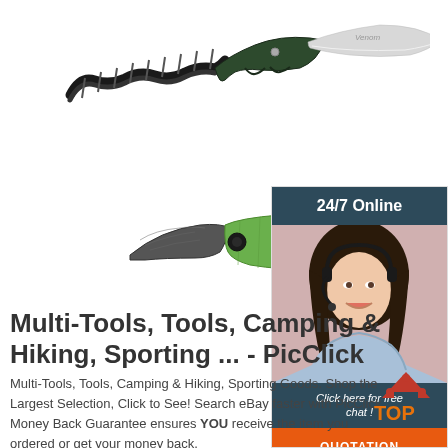[Figure (photo): A curved fixed-blade knife with braided black paracord handle and polished silver blade, shown against white background]
[Figure (photo): A folding knife with dark stone-washed blade and green handle with black pivot, partially open, shown against white background]
[Figure (photo): Customer service advertisement with dark teal header reading 24/7 Online, photo of smiling woman with headset, italic text Click here for free chat!, and orange button labeled QUOTATION]
Multi-Tools, Tools, Camping & Hiking, Sporting ... - PicClick
Multi-Tools, Tools, Camping & Hiking, Sporting Goods. Shop the Largest Selection, Click to See! Search eBay faster with PicClick. Money Back Guarantee ensures YOU receive the item you ordered or get your money back.
[Figure (logo): Orange and dark red TOP logo with mountain/triangle shape above the word TOP]